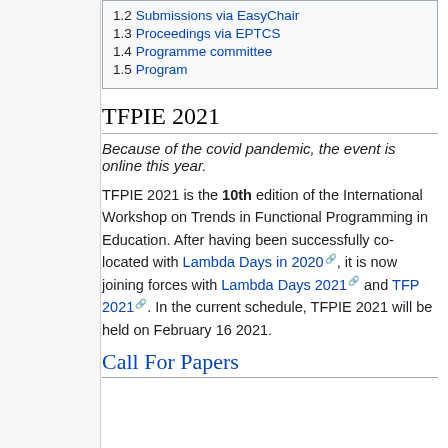1.2 Submissions via EasyChair
1.3 Proceedings via EPTCS
1.4 Programme committee
1.5 Program
TFPIE 2021
Because of the covid pandemic, the event is online this year.
TFPIE 2021 is the 10th edition of the International Workshop on Trends in Functional Programming in Education. After having been successfully co-located with Lambda Days in 2020, it is now joining forces with Lambda Days 2021 and TFP 2021. In the current schedule, TFPIE 2021 will be held on February 16 2021.
Call For Papers